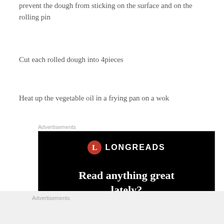prevent the dough from sticking on the surface and on the rolling pin
Cut each rolled dough into 4pieces
Heat up the vegetable oil in a frying pan on a wok
[Figure (other): Advertisement banner for Longreads website with black background, red circular logo with letter L, text reading 'LONGREADS' and tagline 'Read anything great lately?']
Advertisements
Advertisements